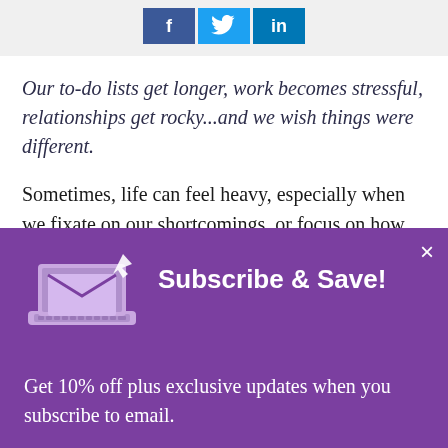[Figure (other): Social media share buttons: Facebook (f), Twitter (bird icon), LinkedIn (in)]
Our to-do lists get longer, work becomes stressful, relationships get rocky...and we wish things were different.
Sometimes, life can feel heavy, especially when we fixate on our shortcomings, or focus on how things could have been if we made a better choice. In situations like this, one of the
Subscribe & Save!
[Figure (illustration): Purple illustrated laptop with envelope/mail icon and cursor arrow, representing email subscription]
Get 10% off plus exclusive updates when you subscribe to email.
Subscribe now